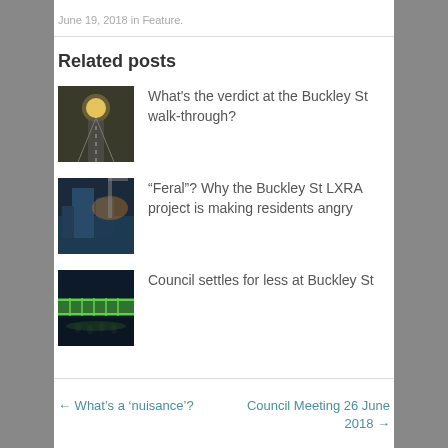June 19, 2018 in Feature.
Related posts
[Figure (photo): Outdoor walkway with sun in background, railway tracks]
What's the verdict at the Buckley St walk-through?
[Figure (photo): Blue construction site or industrial building at dusk]
“Feral”? Why the Buckley St LXRA project is making residents angry
[Figure (photo): Green lit bridge or overpass at night with people below]
Council settles for less at Buckley St
← What’s a ‘nuisance’?
Council Meeting 26 June 2018 →